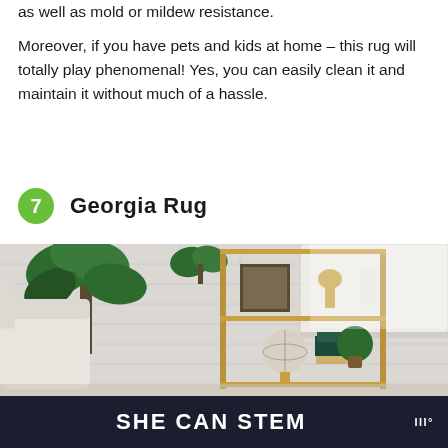as well as mold or mildew resistance.
Moreover, if you have pets and kids at home – this rug will totally play phenomenal! Yes, you can easily clean it and maintain it without much of a hassle.
7  Georgia Rug
[Figure (photo): Interior room photo showing a light-colored armchair on the left, a gold metal shelving unit/bar cart in the center with books, a globe, and decorative items, a large leafy green plant behind, a small potted plant on the shelf, and a white brick wall in the background near a window.]
SHE CAN STEM